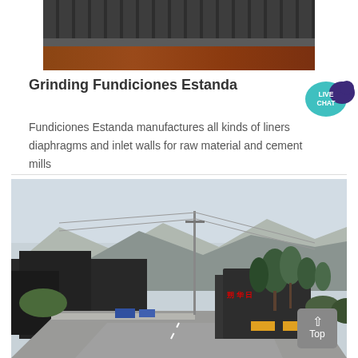[Figure (photo): Top portion of an industrial facility showing dark metal equipment/machinery on a reddish-brown surface]
Grinding Fundiciones Estanda
[Figure (photo): LIVE CHAT speech bubble badge icon]
Fundiciones Estanda manufactures all kinds of liners diaphragms and inlet walls for raw material and cement mills
[Figure (photo): Street view of a Chinese industrial/cement facility with mountains in the background, power lines, trees, and a road in the foreground. A 'Top' button is overlaid in the bottom right corner.]